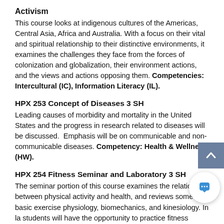Activism
This course looks at indigenous cultures of the Americas, Central Asia, Africa and Australia. With a focus on their vital and spiritual relationship to their distinctive environments, it examines the challenges they face from the forces of colonization and globalization, their environment actions, and the views and actions opposing them. Competencies: Intercultural (IC), Information Literacy (IL).
HPX 253 Concept of Diseases 3 SH
Leading causes of morbidity and mortality in the United States and the progress in research related to diseases will be discussed. Emphasis will be on communicable and non-communicable diseases. Competency: Health & Wellness (HW).
HPX 254 Fitness Seminar and Laboratory 3 SH
The seminar portion of this course examines the relationship between physical activity and health, and reviews some basic exercise physiology, biomechanics, and kinesiology. In la students will have the opportunity to practice fitness assessment techniques, physical activity counseling, and exercise prescription.
HPX 255 Course: Experimental continuation 3 SH